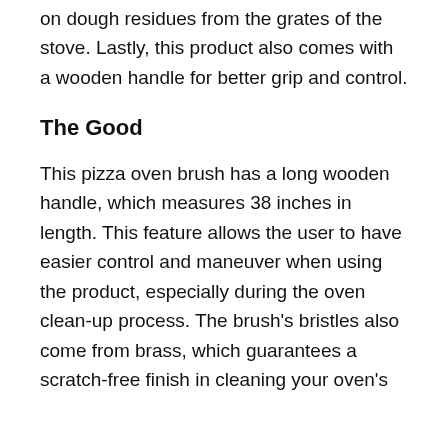on dough residues from the grates of the stove. Lastly, this product also comes with a wooden handle for better grip and control.
The Good
This pizza oven brush has a long wooden handle, which measures 38 inches in length. This feature allows the user to have easier control and maneuver when using the product, especially during the oven clean-up process. The brush's bristles also come from brass, which guarantees a scratch-free finish in cleaning your oven's